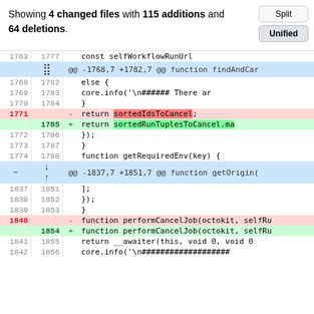Showing 4 changed files with 115 additions and 64 deletions.
[Figure (screenshot): Git diff unified view showing code changes with line numbers, deleted lines highlighted in red and added lines in green, hunk headers in blue]
Split / Unified buttons